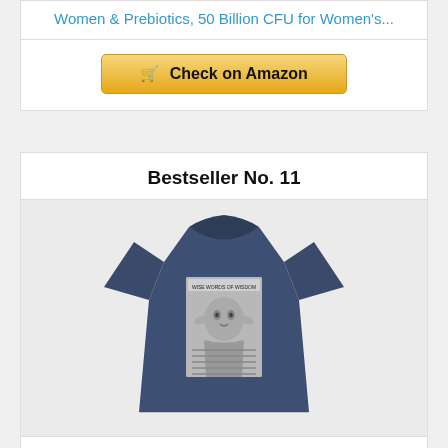Women & Prebiotics, 50 Billion CFU for Women's...
[Figure (other): Check on Amazon button with shopping cart icon]
Bestseller No. 11
[Figure (photo): Navy heather t-shirt with Yoda / Words of Wisdom Star Wars graphic print]
Star Wars unisex adult Star Wars - Words of Wisdom T-shirt T Shirt, Premium Navy Heather, Large US